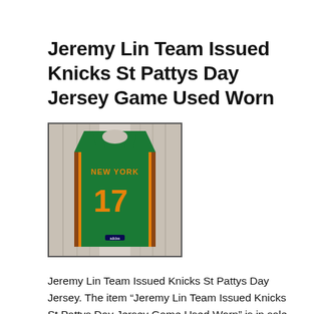Jeremy Lin Team Issued Knicks St Pattys Day Jersey Game Used Worn
[Figure (photo): Green basketball jersey with number 17, New York Knicks St. Patrick's Day edition, hanging displayed against a light background. Jersey shows 'NEW YORK' text and number 17 in orange/gold on green fabric.]
Jeremy Lin Team Issued Knicks St Pattys Day Jersey. The item “Jeremy Lin Team Issued Knicks St Pattys Day Jersey Game Used Worn” is in sale since Wednesday, April 8, 2020. This item is in the category “Sports Mem, Cards & Fan Shop\Game Used Memorabilia\Basketball-NBA”. The seller is “auth3nt1cated” and is located in Wantagh, New York. This item can be shipped to United States, Canada, United Kingdom, Denmark, Romania, Slovakia, Bulgaria, Czech republic, Finland, Hungary, Latvia, Lithuania, Malta, Estonia, Australia, Greece, Portugal, Cyprus, Slovenia, Japan, China, Sweden, South Korea, Indonesia,